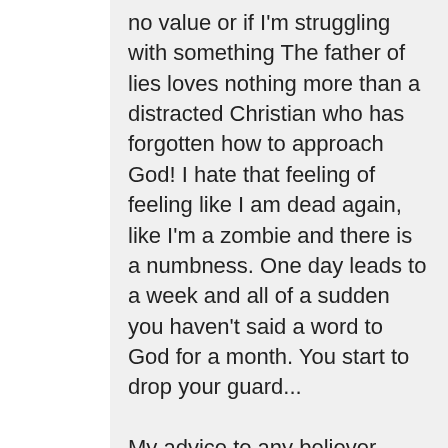no value or if I'm struggling with something The father of lies loves nothing more than a distracted Christian who has forgotten how to approach God! I hate that feeling of feeling like I am dead again, like I'm a zombie and there is a numbness. One day leads to a week and all of a sudden you haven't said a word to God for a month. You start to drop your guard...
My advice to any believer